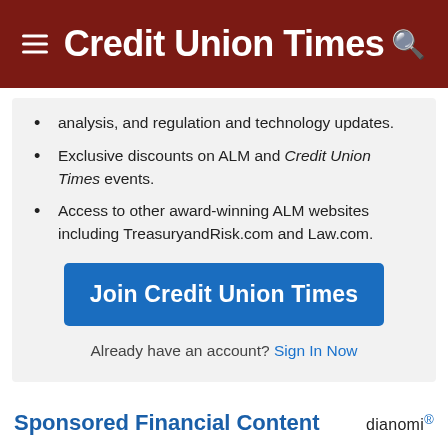Credit Union Times
analysis, and regulation and technology updates.
Exclusive discounts on ALM and Credit Union Times events.
Access to other award-winning ALM websites including TreasuryandRisk.com and Law.com.
Join Credit Union Times
Already have an account? Sign In Now
Sponsored Financial Content
Opening the door to closed-end funds
abrdn